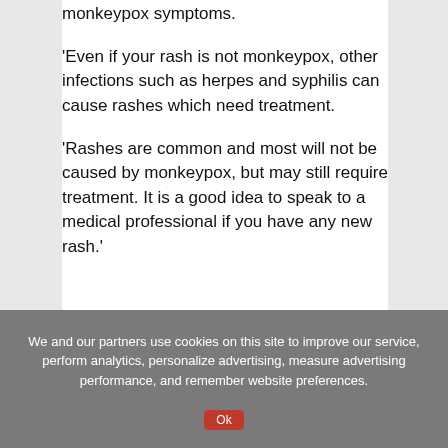monkeypox symptoms.
'Even if your rash is not monkeypox, other infections such as herpes and syphilis can cause rashes which need treatment.
'Rashes are common and most will not be caused by monkeypox, but may still require treatment. It is a good idea to speak to a medical professional if you have any new rash.'
We and our partners use cookies on this site to improve our service, perform analytics, personalize advertising, measure advertising performance, and remember website preferences.